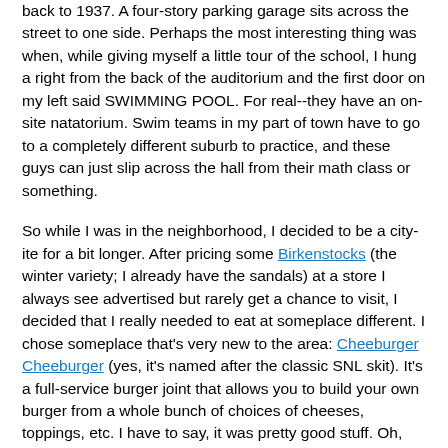back to 1937. A four-story parking garage sits across the street to one side. Perhaps the most interesting thing was when, while giving myself a little tour of the school, I hung a right from the back of the auditorium and the first door on my left said SWIMMING POOL. For real--they have an on-site natatorium. Swim teams in my part of town have to go to a completely different suburb to practice, and these guys can just slip across the hall from their math class or something.
So while I was in the neighborhood, I decided to be a city-ite for a bit longer. After pricing some Birkenstocks (the winter variety; I already have the sandals) at a store I always see advertised but rarely get a chance to visit, I decided that I really needed to eat at someplace different. I chose someplace that's very new to the area: Cheeburger Cheeburger (yes, it's named after the classic SNL skit). It's a full-service burger joint that allows you to build your own burger from a whole bunch of choices of cheeses, toppings, etc. I have to say, it was pretty good stuff. Oh, and it should go without saying that I ordered their smallest offering (5.5 ounces); their biggest one is a whopping 20 ounces, but I would've had to walk home to counterbalance that one.